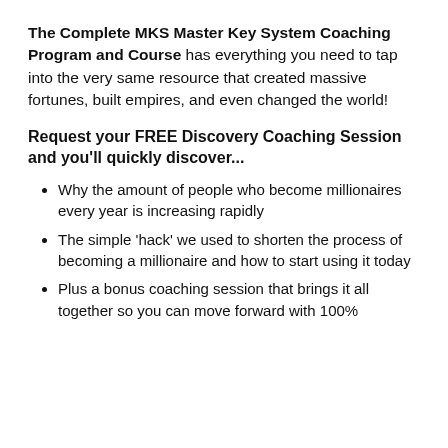The Complete MKS Master Key System Coaching Program and Course has everything you need to tap into the very same resource that created massive fortunes, built empires, and even changed the world!
Request your FREE Discovery Coaching Session and you'll quickly discover...
Why the amount of people who become millionaires every year is increasing rapidly
The simple 'hack' we used to shorten the process of becoming a millionaire and how to start using it today
Plus a bonus coaching session that brings it all together so you can move forward with 100%